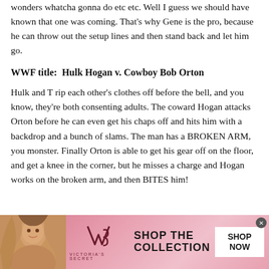wonders whatcha gonna do etc etc.  Well I guess we should have known that one was coming.  That's why Gene is the pro, because he can throw out the setup lines and then stand back and let him go.
WWF title:  Hulk Hogan v. Cowboy Bob Orton
Hulk and T rip each other's clothes off before the bell, and you know, they're both consenting adults.  The coward Hogan attacks Orton before he can even get his chaps off and hits him with a backdrop and a bunch of slams.  The man has a BROKEN ARM, you monster.  Finally Orton is able to get his gear off on the floor, and get a knee in the corner, but he misses a charge and Hogan works on the broken arm, and then BITES him!
[Figure (photo): Victoria's Secret advertisement banner with a woman model on the left, VS logo in the center, 'SHOP THE COLLECTION' text, and a 'SHOP NOW' button on the right, pink gradient background]